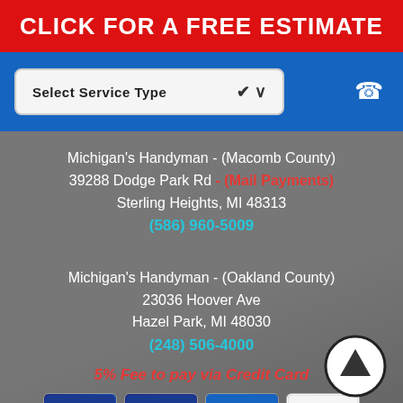CLICK FOR A FREE ESTIMATE
Select Service Type
Michigan's Handyman - (Macomb County)
39288 Dodge Park Rd - (Mail Payments)
Sterling Heights, MI 48313
(586) 960-5009
Michigan's Handyman - (Oakland County)
23036 Hoover Ave
Hazel Park, MI 48030
(248) 506-4000
5% Fee to pay via Credit Card
[Figure (infographic): Payment method logos: MasterCard, Visa, American Express, Discover Network, Venmo, and Cash App icons]